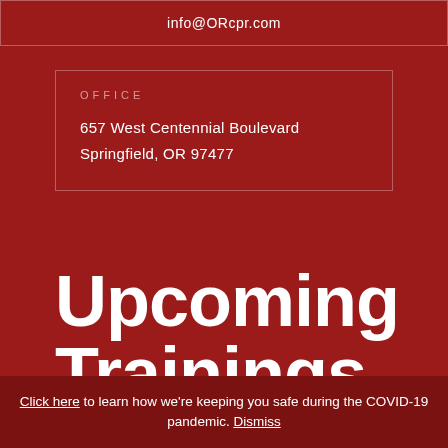info@ORcpr.com
OFFICE
657 West Centennial Boulevard
Springfield, OR 97477
Upcoming Trainings
Click here to learn how we're keeping you safe during the COVID-19 pandemic. Dismiss